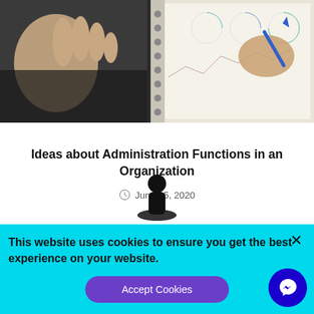[Figure (photo): Photo of hands with a notebook showing charts and graphs, one hand holding a pen writing in a spiral notebook with circular charts visible]
Ideas about Administration Functions in an Organization
June 15, 2020
[Figure (infographic): Cookie consent banner with teal background, person/location icon, close X button, cookie notice text, Accept Cookies button, and Messenger chat button]
This website uses cookies to ensure you get the best experience on your website.